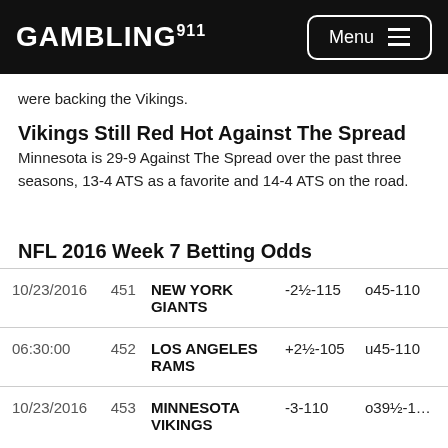GAMBLING911 Menu
were backing the Vikings.
Vikings Still Red Hot Against The Spread
Minnesota is 29-9 Against The Spread over the past three seasons, 13-4 ATS as a favorite and 14-4 ATS on the road.
NFL 2016 Week 7 Betting Odds
| Date | ID | Team | Spread | Total |
| --- | --- | --- | --- | --- |
| 10/23/2016 | 451 | NEW YORK GIANTS | -2½-115 | o45-110 |
| 06:30:00 | 452 | LOS ANGELES RAMS | +2½-105 | u45-110 |
| 10/23/2016 | 453 | MINNESOTA VIKINGS | -3-110 | o39½-1… |